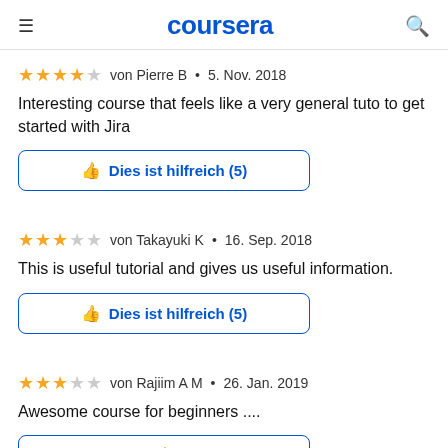coursera
★★★★☆ von Pierre B • 5. Nov. 2018
Interesting course that feels like a very general tuto to get started with Jira
Dies ist hilfreich (5)
★★★☆☆ von Takayuki K • 16. Sep. 2018
This is useful tutorial and gives us useful information.
Dies ist hilfreich (5)
★★★☆☆ von Rajiim A M • 26. Jan. 2019
Awesome course for beginners ....